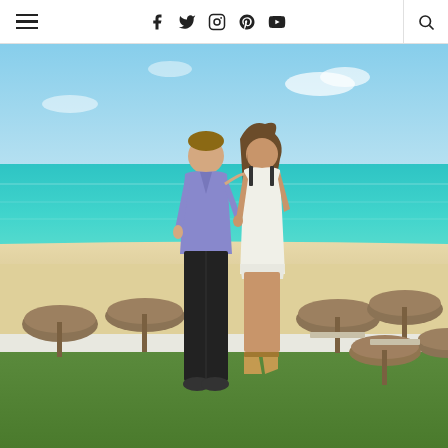Navigation bar with hamburger menu and social media icons (Facebook, Twitter, Instagram, Pinterest, YouTube) and search
[Figure (photo): A couple posing on a beach resort lawn with turquoise Caribbean sea, white sand beach, and thatched palapa umbrellas in the background. The man wears a purple button-up shirt and black pants; the woman wears a white dress and wedge sandals.]